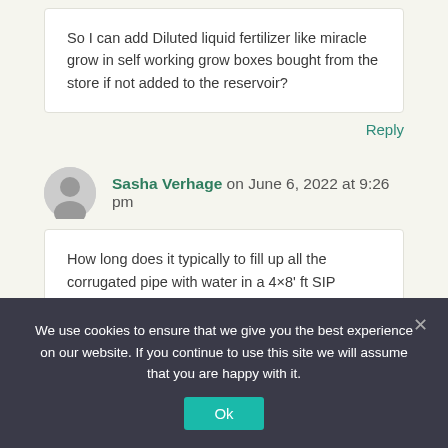So I can add Diluted liquid fertilizer like miracle grow in self working grow boxes bought from the store if not added to the reservoir?
Reply
Sasha Verhage on June 6, 2022 at 9:26 pm
How long does it typically to fill up all the corrugated pipe with water in a 4×8' ft SIP planter bed?
Reply
We use cookies to ensure that we give you the best experience on our website. If you continue to use this site we will assume that you are happy with it.